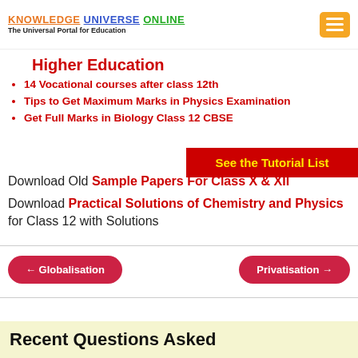KNOWLEDGE UNIVERSE ONLINE — The Universal Portal for Education
Higher Education
14 Vocational courses after class 12th
Tips to Get Maximum Marks in Physics Examination
Get Full Marks in Biology Class 12 CBSE
[Figure (other): Red banner button: See the Tutorial List]
Download Old Sample Papers For Class X & XII
Download Practical Solutions of Chemistry and Physics for Class 12 with Solutions
← Globalisation
Privatisation →
Recent Questions Asked